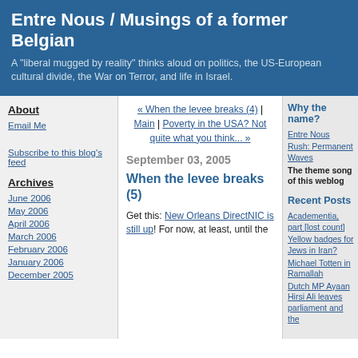Entre Nous / Musings of a former Belgian
A "liberal mugged by reality" thinks aloud on politics, the US-European cultural divide, the War on Terror, and life in Israel.
About
Email Me
Subscribe to this blog's feed
Archives
June 2006
May 2006
April 2006
March 2006
February 2006
January 2006
December 2005
« When the levee breaks (4) | Main | Poverty in the USA? Not quite what you think... »
September 03, 2005
When the levee breaks (5)
Get this: New Orleans DirectNIC is still up! For now, at least, until the
Why the name?
Entre Nous
Rush: Permanent Waves
The theme song of this weblog
Recent Posts
Academentia, part [lost count]
Yellow badges for Jews in Iran?
Michael Totten in Ramallah
Dutch MP Ayaan Hirsi Ali leaves parliament and the